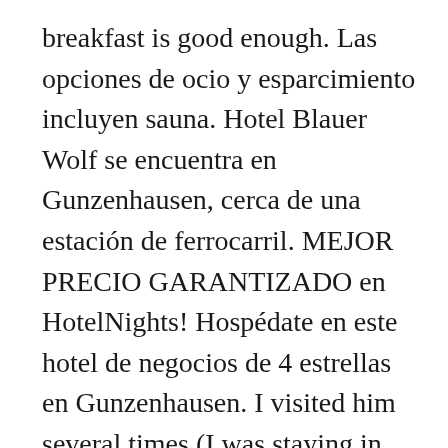breakfast is good enough. Las opciones de ocio y esparcimiento incluyen sauna. Hotel Blauer Wolf se encuentra en Gunzenhausen, cerca de una estación de ferrocarril. MEJOR PRECIO GARANTIZADO en HotelNights! Hospédate en este hotel de negocios de 4 estrellas en Gunzenhausen. I visited him several times (I was staying in Nuremberg-see my review on the Holiday Inn). Are any cleaning services offered at Hotel Blauer Wolf? Hotel Blauer Wolf offers a health club, a sauna, and free WiFi in public areas. Yes, guests have access to a fitness center and a sauna during their stay. Unweit des Blasturms in Gunzenhausen befindet sich das familiengeführte, mit vier Sternen